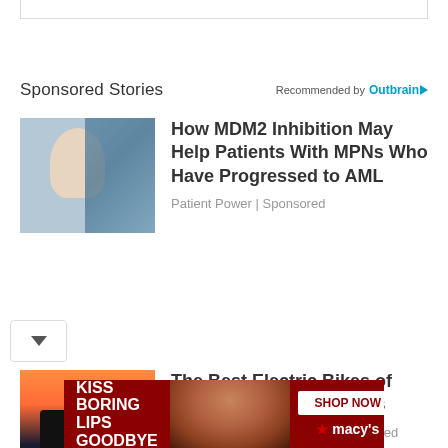Sponsored Stories
Recommended by Outbrain
[Figure (photo): Researcher or medical professional looking at a computer screen in a lab setting]
How MDM2 Inhibition May Help Patients With MPNs Who Have Progressed to AML
Patient Power | Sponsored
[Figure (photo): Two cyclists with helmets high-fiving at sunset with bikes nearby]
The Best Electric Bikes of 2022 at Affordable Prices
Ebike | Sponsored Listings | Sponsored
[Figure (advertisement): Macy's advertisement: KISS BORING LIPS GOODBYE with SHOP NOW button and woman's face with red lips]